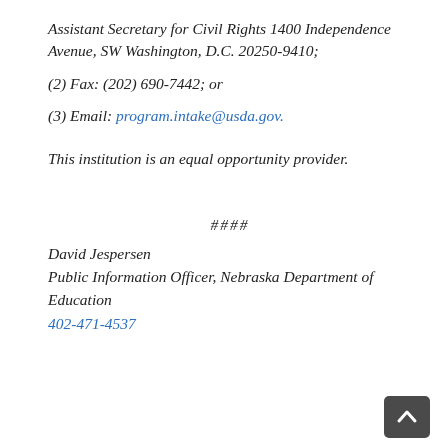Assistant Secretary for Civil Rights 1400 Independence Avenue, SW Washington, D.C. 20250-9410;
(2) Fax: (202) 690-7442; or
(3) Email: program.intake@usda.gov.
This institution is an equal opportunity provider.
####
David Jespersen
Public Information Officer, Nebraska Department of Education
402-471-4537